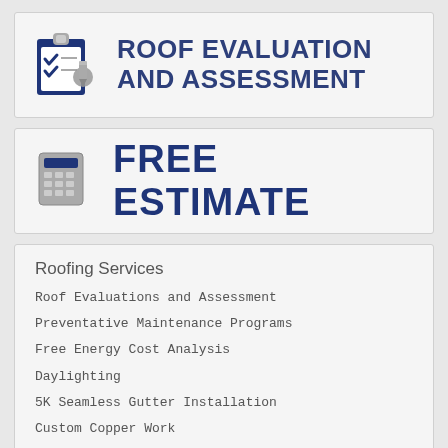[Figure (logo): Clipboard with checkmarks and pencil icon next to text ROOF EVALUATION AND ASSESSMENT in dark blue]
[Figure (logo): Calculator icon next to text FREE ESTIMATE in dark blue bold]
Roofing Services
Roof Evaluations and Assessment
Preventative Maintenance Programs
Free Energy Cost Analysis
Daylighting
5K Seamless Gutter Installation
Custom Copper Work
Custom Sheet Metal Fabrication